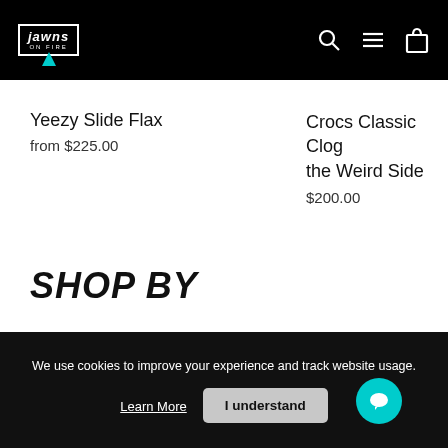jawns ON FIRE — navigation header with search, menu, and cart icons
Yeezy Slide Flax
from $225.00
Crocs Classic Clog the Weird Side
$200.00
SHOP BY
We use cookies to improve your experience and track website usage.
Learn More
I understand